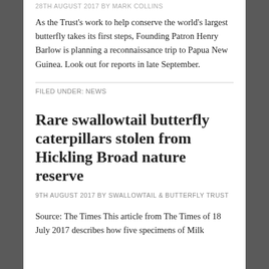28TH AUGUST 2017 BY MARK COLLINS
As the Trust’s work to help conserve the world’s largest butterfly takes its first steps, Founding Patron Henry Barlow is planning a reconnaissance trip to Papua New Guinea. Look out for reports in late September.
FILED UNDER: NEWS
Rare swallowtail butterfly caterpillars stolen from Hickling Broad nature reserve
9TH AUGUST 2017 BY SWALLOWTAIL & BUTTERFLY TRUST
Source: The Times This article from The Times of 18 July 2017 describes how five specimens of Milk